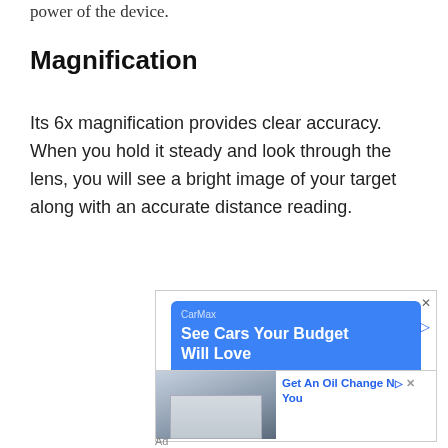power of the device.
Magnification
Its 6x magnification provides clear accuracy. When you hold it steady and look through the lens, you will see a bright image of your target along with an accurate distance reading.
[Figure (other): CarMax advertisement banner with blue background showing 'See Cars Your Budget Will Love' headline]
[Figure (photo): Advertisement showing a car dealership building exterior (Firestone) with text 'Get An Oil Change N... You']
Ad